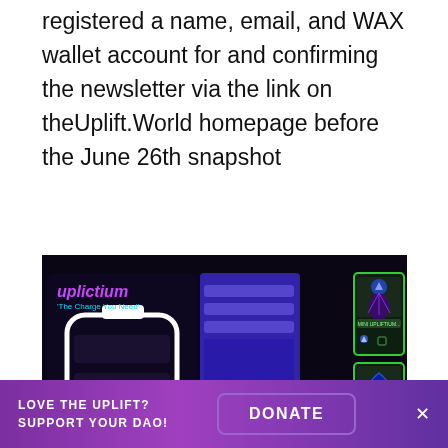registered a name, email, and WAX wallet account for and confirming the newsletter via the link on theUplift.World homepage before the June 26th snapshot
[Figure (screenshot): Composite image showing Upliftium branding materials including a battery graphic, newsletter sign-up form, Mining Pack Upliftium Charge Promo 1.0 card, and NFT card artwork on a dark background]
Upliftium Mining Rig Sale
LOVE THE UPLIFT? SUPPORT YOUR DAO!
DONATE